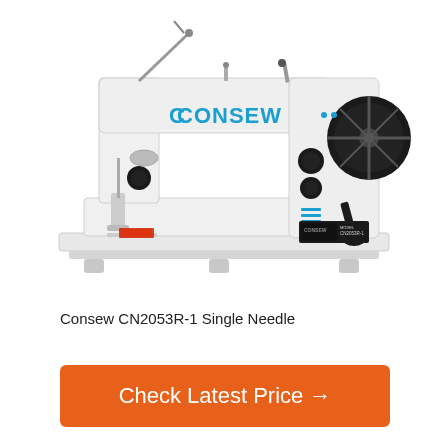[Figure (photo): Consew CN2053R-1 Single Needle industrial sewing machine, white, with Consew logo in blue on the arm, model label on the side, black flywheel on the right, presser foot on the left, and a small red instruction card on the base plate.]
Consew CN2053R-1 Single Needle
Check Latest Price →